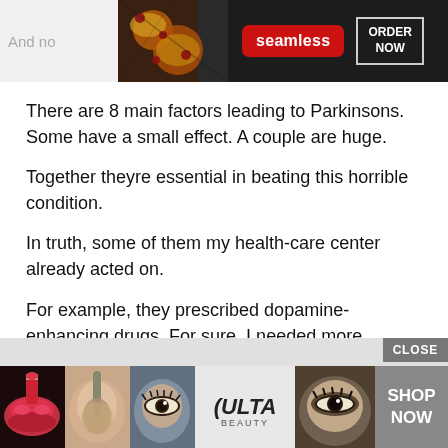[Figure (screenshot): Top advertisement banner: Seamless food ordering ad with pizza image, red Seamless logo button, and ORDER NOW button on dark background]
There are 8 main factors leading to Parkinsons. Some have a small effect. A couple are huge.
Together theyre essential in beating this horrible condition.
In truth, some of them my health-care center already acted on.
For example, they prescribed dopamine-enhancing drugs. For sure, I needed more dopamine.
[Figure (screenshot): Bottom advertisement: ULTA beauty ad with makeup/beauty images, ULTA logo, and SHOP NOW button on gray/dark background with CLOSE button]